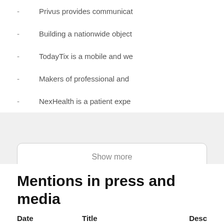- Privus provides communicat
- Building a nationwide object
- TodayTix is a mobile and we
- Makers of professional and
- NexHealth is a patient expe
Show more
Mentions in press and media
5
| Date | Title | Desc |
| --- | --- | --- |